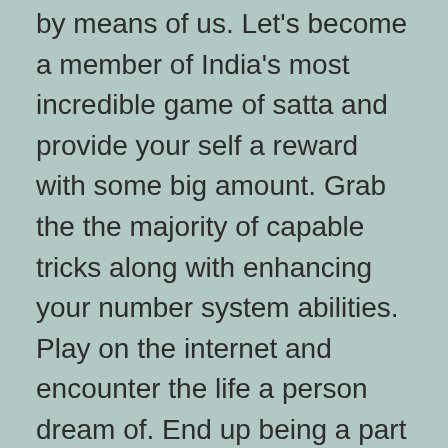by means of us. Let's become a member of India's most incredible game of satta and provide your self a reward with some big amount. Grab the the majority of capable tricks along with enhancing your number system abilities. Play on the internet and encounter the life a person dream of. End up being a part associated with by far the most fun-loving On the web Play. Get in touch with each of our confidential website as well as delight in playing.
Have the best practice through internet site as okay as play satta with your expertise to get